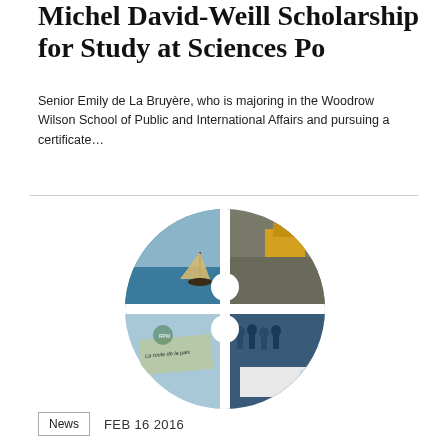Michel David-Weill Scholarship for Study at Sciences Po
Senior Emily de La Bruyère, who is majoring in the Woodrow Wilson School of Public and International Affairs and pursuing a certificate...
[Figure (photo): Circular collage of four photographs: a sailboat on the ocean, a construction vehicle at a waste dump, a group of people in blue uniforms gathered together, and a street scene with a sign reading 'La route de la paix' and a police vehicle.]
News   FEB 16 2016